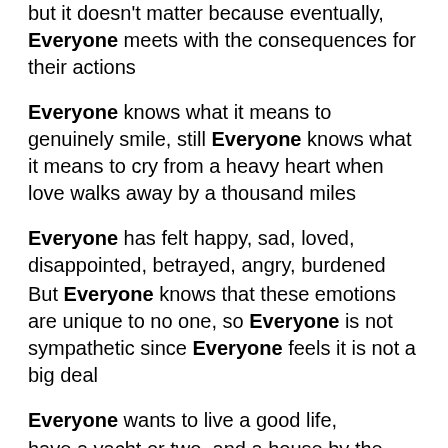but it doesn't matter because eventually, Everyone meets with the consequences for their actions
Everyone knows what it means to genuinely smile, still Everyone knows what it means to cry from a heavy heart when love walks away by a thousand miles
Everyone has felt happy, sad, loved, disappointed, betrayed, angry, burdened
But Everyone knows that these emotions are unique to no one, so Everyone is not sympathetic since Everyone feels it is not a big deal
Everyone wants to live a good life, have a yacht or two, and a house by the lakeside, inexhaustible money in the bank, servants at their beck and call, anything to make this hard life worth living
Even though Everyone knows not Everyone will be willing…